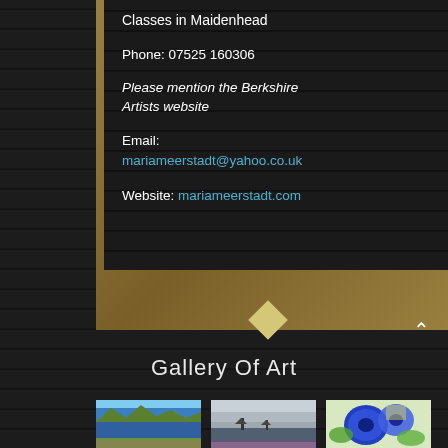Classes in Maidenhead
Phone: 07525 160306
Please mention the Berkshire Artists website
Email: mariameerstadt@yahoo.co.uk
Website: mariameerstadt.com
Gallery Of Art
[Figure (photo): Three gallery artwork thumbnails: landscape with lake and mountains, seascape with ships, blue flowers painting]